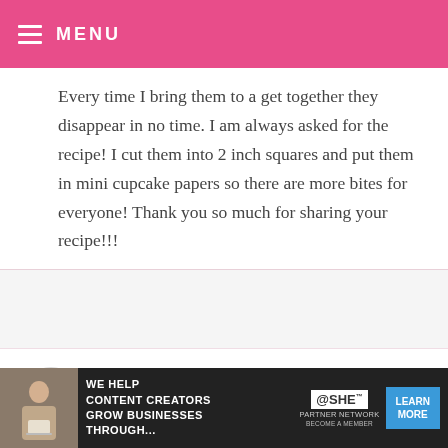MENU
Every time I bring them to a get together they disappear in no time. I am always asked for the recipe! I cut them into 2 inch squares and put them in mini cupcake papers so there are more bites for everyone! Thank you so much for sharing your recipe!!!
RONI KELLER — FEBRUARY 10, 2021 @ 1:07 PM
REPLY
Hi! There were two things wrong with
[Figure (other): Ad banner: WE HELP CONTENT CREATORS GROW BUSINESSES THROUGH... SHE PARTNER NETWORK BECOME A MEMBER LEARN MORE]